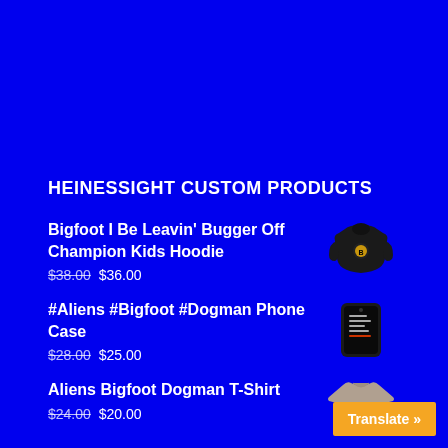HEINESSIGHT CUSTOM PRODUCTS
Bigfoot I Be Leavin' Bugger Off Champion Kids Hoodie
$38.00 $36.00
#Aliens #Bigfoot #Dogman Phone Case
$28.00 $25.00
Aliens Bigfoot Dogman T-Shirt
$24.00 $20.00
Translate »